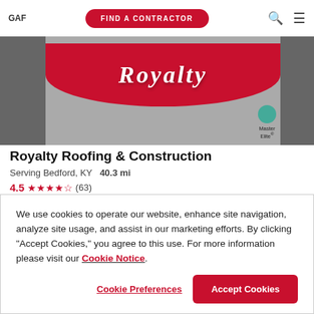GAF | FIND A CONTRACTOR
[Figure (logo): Royalty Roofing red banner logo with decorative text]
Royalty Roofing & Construction
Serving Bedford, KY  40.3 mi
4.5 ★★★★½ (63)
(812) 523-8302  VIEW PROFILE
We use cookies to operate our website, enhance site navigation, analyze site usage, and assist in our marketing efforts. By clicking "Accept Cookies," you agree to this use. For more information please visit our Cookie Notice.
Cookie Preferences | Accept Cookies